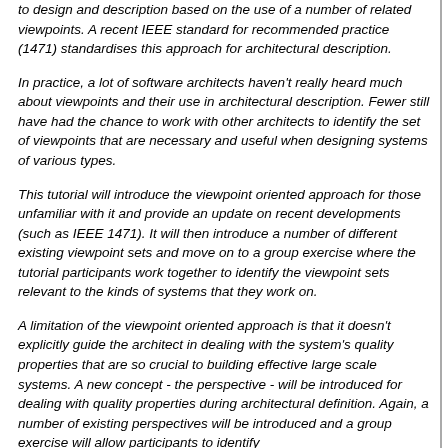to design and description based on the use of a number of related viewpoints. A recent IEEE standard for recommended practice (1471) standardises this approach for architectural description.
In practice, a lot of software architects haven't really heard much about viewpoints and their use in architectural description. Fewer still have had the chance to work with other architects to identify the set of viewpoints that are necessary and useful when designing systems of various types.
This tutorial will introduce the viewpoint oriented approach for those unfamiliar with it and provide an update on recent developments (such as IEEE 1471). It will then introduce a number of different existing viewpoint sets and move on to a group exercise where the tutorial participants work together to identify the viewpoint sets relevant to the kinds of systems that they work on.
A limitation of the viewpoint oriented approach is that it doesn't explicitly guide the architect in dealing with the system's quality properties that are so crucial to building effective large scale systems. A new concept - the perspective - will be introduced for dealing with quality properties during architectural definition. Again, a number of existing perspectives will be introduced and a group exercise will allow participants to identify